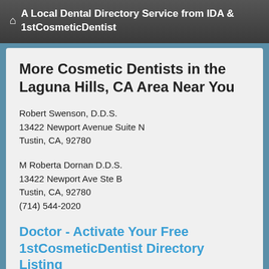A Local Dental Directory Service from IDA & 1stCosmeticDentist
More Cosmetic Dentists in the Laguna Hills, CA Area Near You
Robert Swenson, D.D.S.
13422 Newport Avenue Suite N
Tustin, CA, 92780
M Roberta Dornan D.D.S.
13422 Newport Ave Ste B
Tustin, CA, 92780
(714) 544-2020
Doctor - Activate Your Free 1stCosmeticDentist Directory Listing
Keith E Reber D.D.S.
13420 Newport Ave Ste J
Tustin, CA, 92780
(714) 838-1856